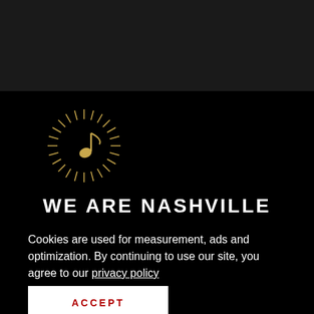[Figure (logo): We Are Nashville logo: a golden music note surrounded by radiating lines forming a sunburst, on black background]
WE ARE NASHVILLE
Cookies are used for measurement, ads and optimization. By continuing to use our site, you agree to our privacy policy
ACCEPT